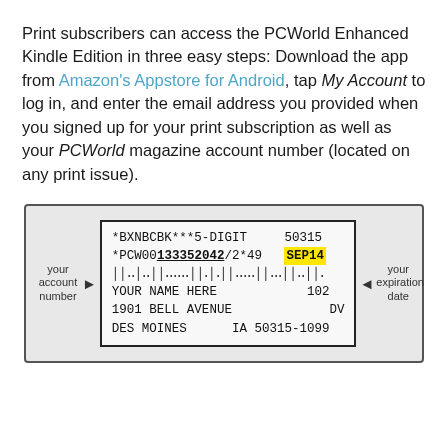Print subscribers can access the PCWorld Enhanced Kindle Edition in three easy steps: Download the app from Amazon's Appstore for Android, tap My Account to log in, and enter the email address you provided when you signed up for your print subscription as well as your PCWorld magazine account number (located on any print issue).
[Figure (infographic): A diagram showing a sample magazine mailing label with annotations. The label contains: *BXNBCBK***5-DIGIT 50315, *PCW00133352042/2*49 SEP14 (SEP14 highlighted in yellow), barcode line, YOUR NAME HERE 102, 1901 BELL AVENUE DV, DES MOINES IA 50315-1099. Annotations point to 'your account number' on the left and 'your expiration date' on the right.]